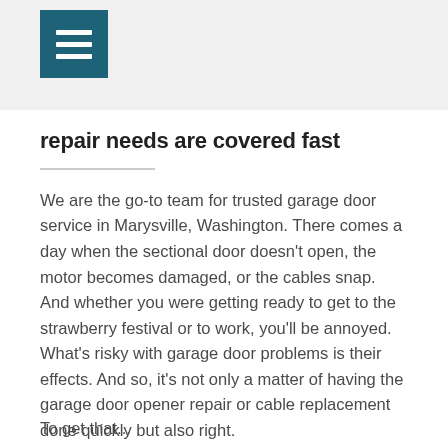[menu icon]
repair needs are covered fast
We are the go-to team for trusted garage door service in Marysville, Washington. There comes a day when the sectional door doesn't open, the motor becomes damaged, or the cables snap. And whether you were getting ready to get to the strawberry festival or to work, you'll be annoyed. What's risky with garage door problems is their effects. And so, it's not only a matter of having the garage door opener repair or cable replacement done quickly but also right.
To get that...